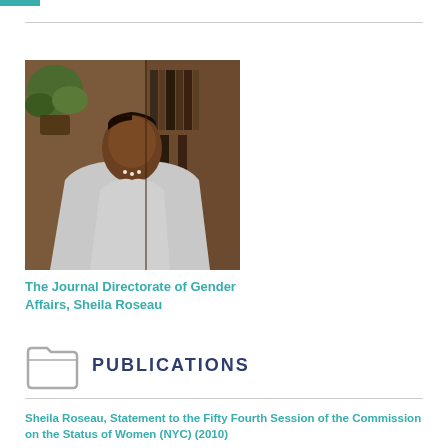[Figure (photo): Portrait photo of Sheila Roseau, a woman in a light grey blazer, seated in front of bookshelves and a plant]
The Journal Directorate of Gender Affairs, Sheila Roseau
PUBLICATIONS
Sheila Roseau, Statement to the Fifty Fourth Session of the Commission on the Status of Women (NYC) (2010)